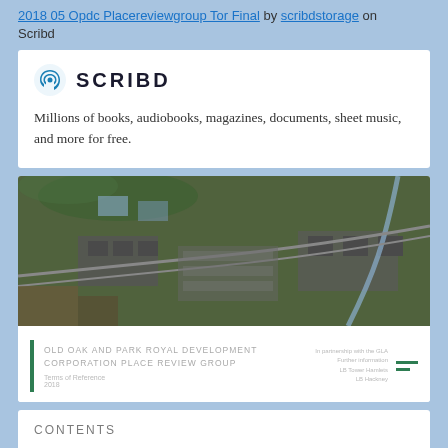2018 05 Opdc Placereviewgroup Tor Final by scribdstorage on Scribd
[Figure (logo): Scribd logo with icon and wordmark]
Millions of books, audiobooks, magazines, documents, sheet music, and more for free.
[Figure (photo): Aerial photograph of Old Oak and Park Royal development area showing industrial buildings, railway lines and surrounding landscape. Below the photo is a document cover page reading: OLD OAK AND PARK ROYAL DEVELOPMENT CORPORATION PLACE REVIEW GROUP, Terms of Reference, 2018, with a green vertical bar and logo on the right.]
CONTENTS